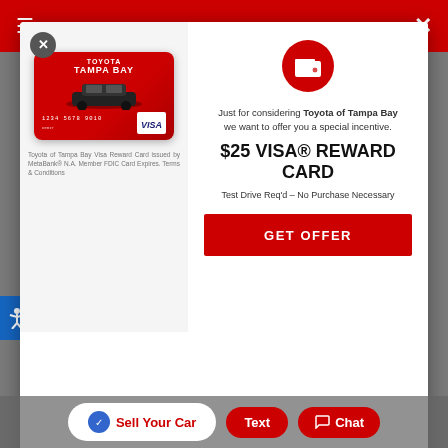[Figure (screenshot): Toyota of Tampa Bay website screenshot showing a modal popup offering a $25 VISA Reward Card incentive for a test drive, below which is a 'Sell Us Your Car' red banner, a Morgan BuyPass payment options panel, and bottom navigation buttons for 'Sell Your Car', 'Text', and 'Chat'.]